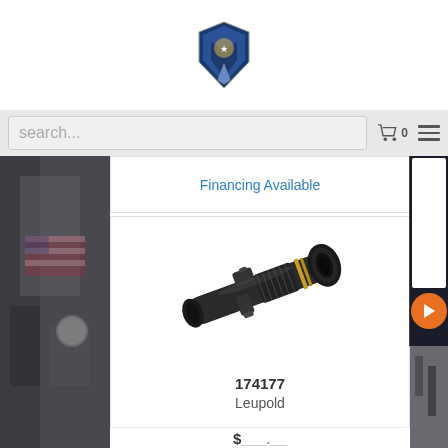[Figure (logo): Shield-shaped police/gun store logo with eagle emblem at top center]
[Figure (screenshot): Search bar with placeholder text 'search...' and cart icon with 0 count and hamburger menu icon]
Financing Available
[Figure (photo): Leupold rifle scope product photo - black tactical scope with gold ring near objective end]
174177
Leupold
$___.__
[Figure (illustration): Sysnet Global Solutions Assurance Card advertisement banner on right side]